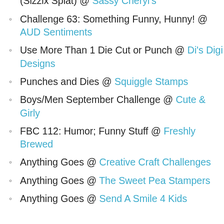Challenge #188: It's A Cut: Use Any Die Cut (Sizzix Splat) @ Sassy Cheryl's
Challenge 63: Something Funny, Hunny! @ AUD Sentiments
Use More Than 1 Die Cut or Punch @ Di's Digi Designs
Punches and Dies @ Squiggle Stamps
Boys/Men September Challenge @ Cute & Girly
FBC 112: Humor; Funny Stuff @ Freshly Brewed
Anything Goes @ Creative Craft Challenges
Anything Goes @ The Sweet Pea Stampers
Anything Goes @ Send A Smile 4 Kids